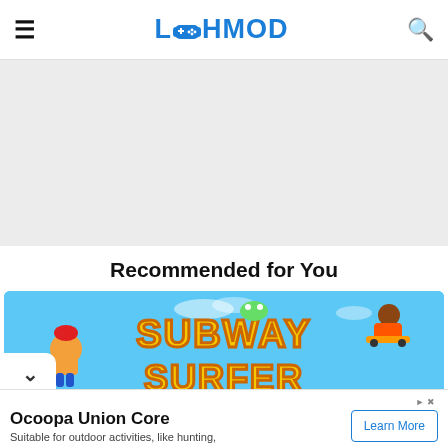LAMOD (with controller icon) — navigation header with hamburger menu and search
[Figure (other): Gray advertisement banner placeholder area]
Recommended for You
[Figure (illustration): Subway Surfers game promotional banner with characters and yellow stylized logo text on blue background]
Ocoopa Union Core
Suitable for outdoor activities, like hunting,
Learn More